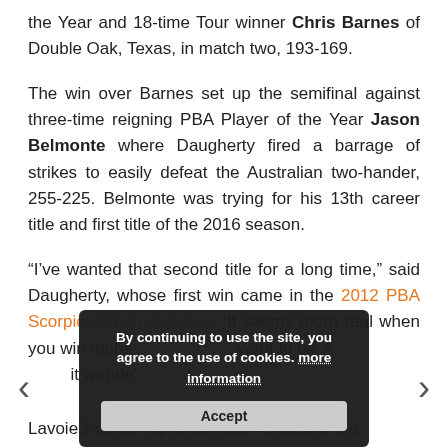the Year and 18-time Tour winner Chris Barnes of Double Oak, Texas, in match two, 193-169.
The win over Barnes set up the semifinal against three-time reigning PBA Player of the Year Jason Belmonte where Daugherty fired a barrage of strikes to easily defeat the Australian two-hander, 255-225. Belmonte was trying for his 13th career title and first title of the 2016 season.
“I’ve wanted that second title for a long time,” said Daugherty, whose first win came in the 2012 PBA Scorpion Championship. “It seems more real when you win more than… want to be a …it wonde…”
[Figure (other): Cookie consent overlay with message: By continuing to use the site, you agree to the use of cookies. more information. With Accept button.]
Lavoie’s runner-up finish was his best of the